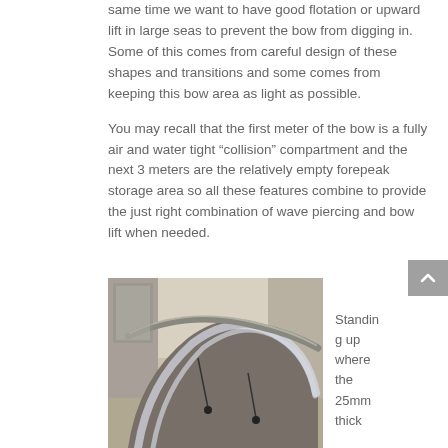same time we want to have good flotation or upward lift in large seas to prevent the bow from digging in. Some of this comes from careful design of these shapes and transitions and some comes from keeping this bow area as light as possible.
You may recall that the first meter of the bow is a fully air and water tight “collision” compartment and the next 3 meters are the relatively empty forepeak storage area so all these features combine to provide the just right combination of wave piercing and bow lift when needed.
[Figure (photo): Photograph of boat construction showing a curved hull section wrapped in plastic sheeting in a workshop/boatyard setting.]
Standing up where the 25mm thick